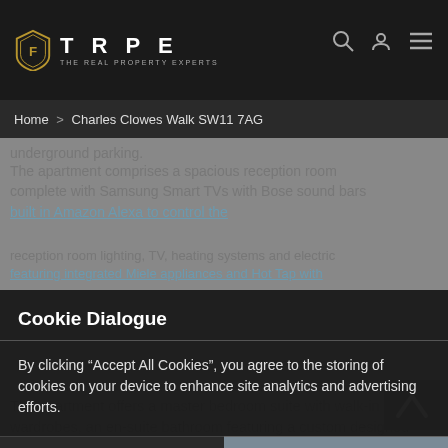[Figure (screenshot): TRPE The Real Property Experts navigation bar with logo and icons]
Home > Charles Clowes Walk SW11 7AG
underground parking.
The apartment comprises a spacious reception room complete with Samsung Smart TVs with Bose sound bars built in Amazon Alexa to control the reception room lighting, TV, heating systems and electric
Cookie Dialogue
By clicking “Accept All Cookies”, you agree to the storing of cookies on your device to enhance site analytics and advertising efforts.
Cookie Settings
Accept All Cookies
The apartment offers a master bedroom suite with walk-in wardrobes, an en-suite bathroom featuring a custom designed mirrored unit with integrated demisting features as well as a private balcony from the bedroom. The apartment benefits from two further double bedrooms and